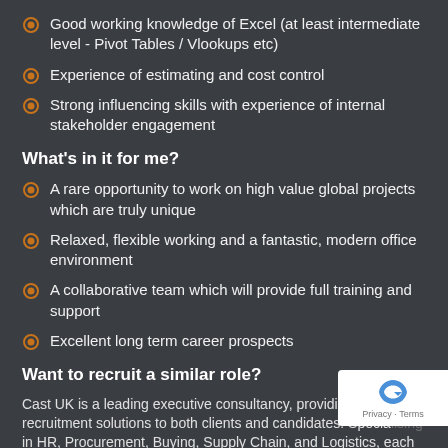Good working knowledge of Excel (at least intermediate level - Pivot Tables / Vlookups etc)
Experience of estimating and cost control
Strong influencing skills with experience of internal stakeholder engagement
What's in it for me?
A rare opportunity to work on high value global projects which are truly unique
Relaxed, flexible working and a fantastic, modern office environment
A collaborative team which will provide full training and support
Excellent long term career prospects
Want to recruit a similar role?
Cast UK is a leading executive consultancy, providing national recruitment solutions to both clients and candidates. Specialising in HR, Procurement, Buying, Supply Chain, and Logistics, each